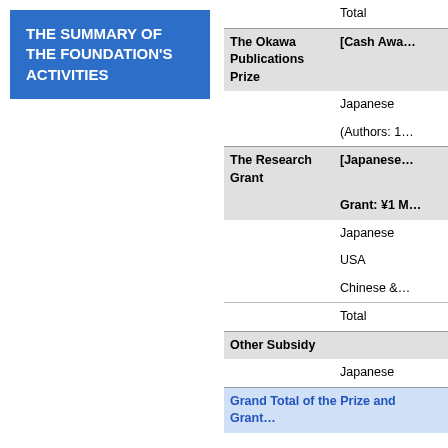THE SUMMARY OF THE FOUNDATION'S ACTIVITIES
| Category | Details |
| --- | --- |
|  | Total |
| The Okawa Publications Prize | [Cash Awa… |
|  | Japanese |
|  | (Authors: 1… |
| The Research Grant | [Japanese… |
|  | Grant: ¥1 M… |
|  | Japanese |
|  | USA |
|  | Chinese &… |
|  | Total |
| Other Subsidy |  |
|  | Japanese |
| Grand Total of the Prize and Grant |  |